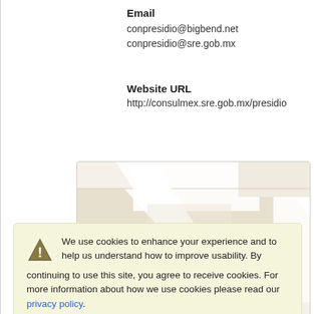Email
conpresidio@bigbend.net
conpresidio@sre.gob.mx
Website URL
http://consulmex.sre.gob.mx/presidio
[Figure (map): A Google Maps-style map showing streets and a red location pin marker, with beige road colors and a blue area in the lower left.]
We use cookies to enhance your experience and to help us understand how to improve usability. By continuing to use this site, you agree to receive cookies. For more information about how we use cookies please read our privacy policy.